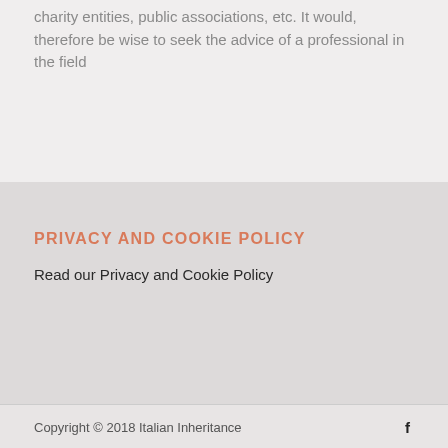charity entities, public associations, etc. It would, therefore be wise to seek the advice of a professional in the field
PRIVACY AND COOKIE POLICY
Read our Privacy and Cookie Policy
Copyright © 2018 Italian Inheritance